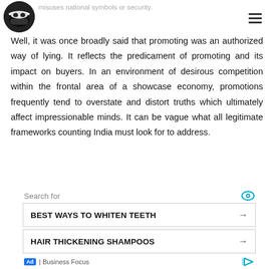misuses national symbols or security.
[Figure (logo): Ninja face logo — circular black background with stylized ninja face graphic]
Well, it was once broadly said that promoting was an authorized way of lying. It reflects the predicament of promoting and its impact on buyers. In an environment of desirous competition within the frontal area of a showcase economy, promotions frequently tend to overstate and distort truths which ultimately affect impressionable minds. It can be vague what all legitimate frameworks counting India must look for to address.
Search for
BEST WAYS TO WHITEN TEETH
HAIR THICKENING SHAMPOOS
Ad | Business Focus